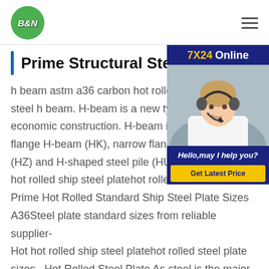B&N
Prime Structural Steel
[Figure (photo): Customer service agent (woman with headset) with 7X24 Online banner and Hello,may I help you? text and Get Latest Price button]
h beam astm a36 carbon hot rolled prime steel h beam. H-beam is a new type of economic construction. H-beam is divided flange H-beam (HK), narrow flange H-s (HZ) and H-shaped steel pile (HU) three hot rolled ship steel platehot rolled stee Prime Hot Rolled Standard Ship Steel Plate Sizes A36Steel plate standard sizes from reliable supplier- Hot hot rolled ship steel platehot rolled steel plate sizes . Hot Rolled Steel Plate As steel is the major cost component it is important to think of the